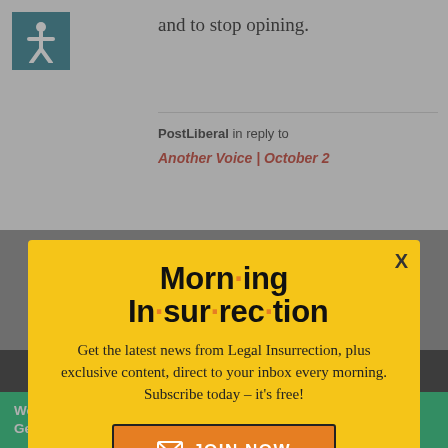and to stop opining.
PostLiberal in reply to
Another Voice | October 2
[Figure (infographic): Morning Insurrection newsletter signup modal popup with yellow background. Title reads 'Morn·ing In·sur·rec·tion' with orange dots as bullet points between syllables. Body text: 'Get the latest news from Legal Insurrection, plus exclusive content, direct to your inbox every morning. Subscribe today – it's free!' Orange JOIN NOW button with envelope icon.]
Working from home?
Get your projects done on fiverr